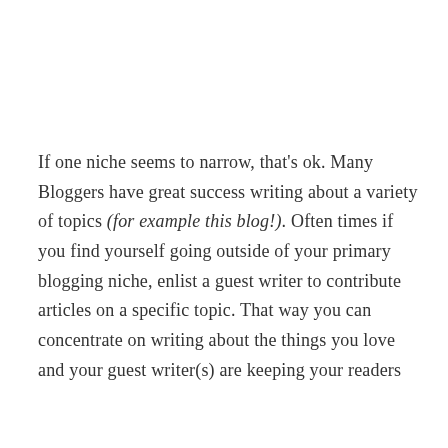If one niche seems to narrow, that's ok. Many Bloggers have great success writing about a variety of topics (for example this blog!). Often times if you find yourself going outside of your primary blogging niche, enlist a guest writer to contribute articles on a specific topic. That way you can concentrate on writing about the things you love and your guest writer(s) are keeping your readers